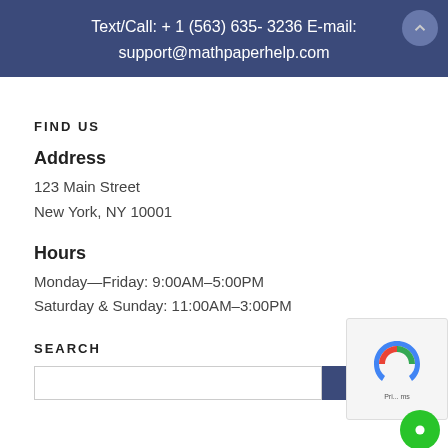Text/Call: + 1 (563) 635- 3236 E-mail: support@mathpaperhelp.com
FIND US
Address
123 Main Street
New York, NY 10001
Hours
Monday—Friday: 9:00AM–5:00PM
Saturday & Sunday: 11:00AM–3:00PM
SEARCH